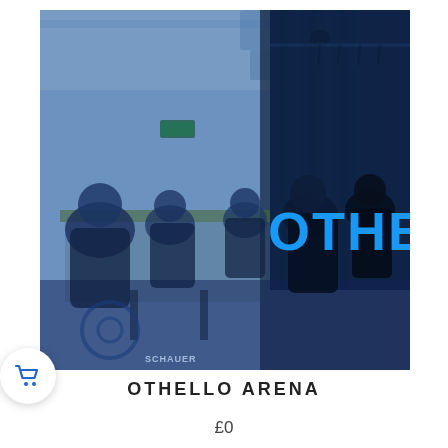[Figure (photo): A blue-tinted photograph of people seated around tables in a large room, playing Othello board game at what appears to be a tournament. Dark curtains are visible on the right side. The word 'OTHE' in large bold blue text is visible on the right side of the image overlaid on the dark background area.]
OTHELLO ARENA
£0